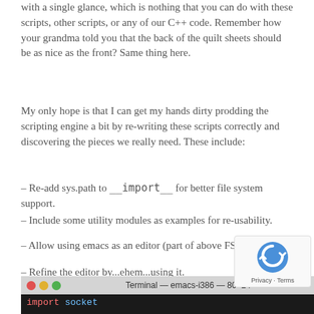with a single glance, which is nothing that you can do with these scripts, other scripts, or any of our C++ code. Remember how your grandma told you that the back of the quilt sheets should be as nice as the front? Same thing here.
My only hope is that I can get my hands dirty prodding the scripting engine a bit by re-writing these scripts correctly and discovering the pieces we really need. These include:
– Re-add sys.path to __import__ for better file system support.
– Include some utility modules as examples for re-usability.
– Allow using emacs as an editor (part of above FS support).
– Refine the editor by...ehem...using it.
Consider Exhibit C:
[Figure (screenshot): Terminal window showing 'Terminal — emacs-i386 — 80×24' title bar with red/yellow/green traffic light buttons, and a terminal body showing 'import socket' with syntax highlighting.]